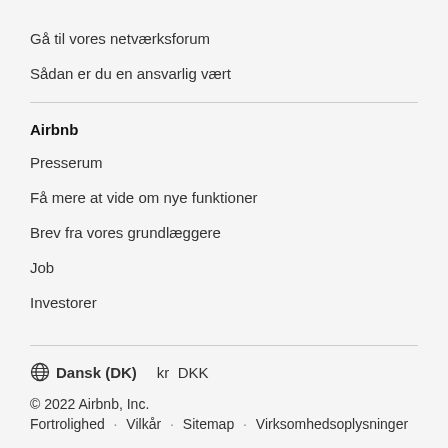Gå til vores netværksforum
Sådan er du en ansvarlig vært
Airbnb
Presserum
Få mere at vide om nye funktioner
Brev fra vores grundlæggere
Job
Investorer
⊕ Dansk (DK)   kr  DKK
© 2022 Airbnb, Inc.
Fortrolighed · Vilkår · Sitemap · Virksomhedsoplysninger